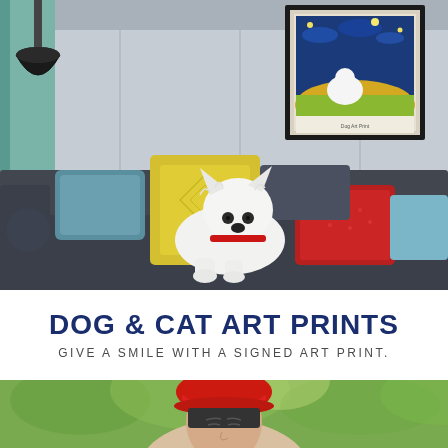[Figure (photo): Interior living room scene with a white West Highland Terrier dog sitting on a dark gray sofa with colorful pillows (teal, yellow, red). A framed art print of a dog in a Van Gogh starry night style hangs on the wall above. A black pendant lamp is visible on the left.]
DOG & CAT ART PRINTS
GIVE A SMILE WITH A SIGNED ART PRINT.
[Figure (photo): Woman wearing a red beret hat outdoors with green trees in background, photographed from shoulders up, eyes closed or looking down.]